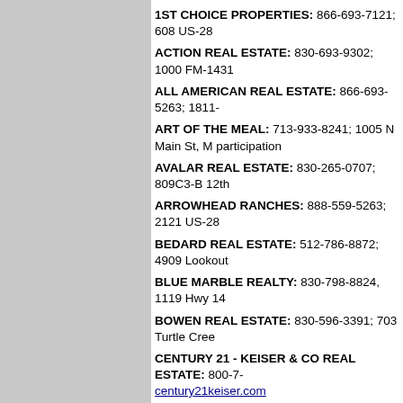1ST CHOICE PROPERTIES: 866-693-7121; 608 US-28
ACTION REAL ESTATE: 830-693-9302; 1000 FM-1431
ALL AMERICAN REAL ESTATE: 866-693-5263; 1811-
ART OF THE MEAL: 713-933-8241; 1005 N Main St, M participation
AVALAR REAL ESTATE: 830-265-0707; 809C3-B 12th
ARROWHEAD RANCHES: 888-559-5263; 2121 US-28
BEDARD REAL ESTATE: 512-786-8872; 4909 Lookout
BLUE MARBLE REALTY: 830-798-8824, 1119 Hwy 14
BOWEN REAL ESTATE: 830-596-3391; 703 Turtle Cree
CENTURY 21 - KEISER & CO REAL ESTATE: 800-7- century21keiser.com
COLDWELL BANKER - GIESECKE & ASSOCIATES cbhillcountry.com
COLDWELL BANKER UNITED - PARAGON PROPE
D GREEN & ASSOCIATES: 830-693-2503; 604 Ave G